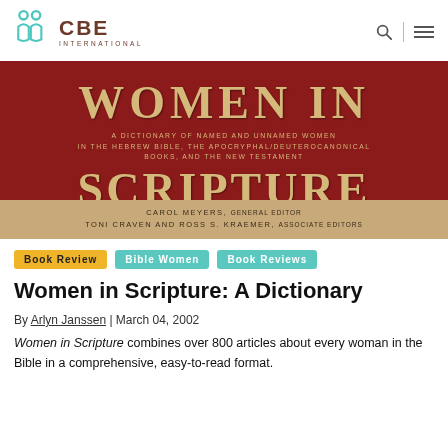[Figure (logo): CBE International logo with teal icon and brown text]
[Figure (photo): Book cover of 'Women in Scripture: A Dictionary of Named and Unnamed Women in the Hebrew Bible, the Apocryphal/Deuterocanonical Books, and the New Testament', edited by Carol Meyers, Toni Craven and Ross S. Kraemer]
Book Review
Bible Women
Book Reviews
Women in Scripture: A Dictionary
By Arlyn Janssen | March 04, 2002
Women in Scripture combines over 800 articles about every woman in the Bible in a comprehensive, easy-to-read format.